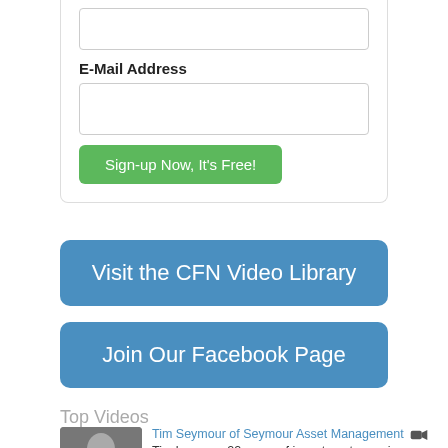E-Mail Address
Sign-up Now, It's Free!
Visit the CFN Video Library
Join Our Facebook Page
Top Videos
Tim Seymour of Seymour Asset Management
Tim has over 22 years of investment experience as